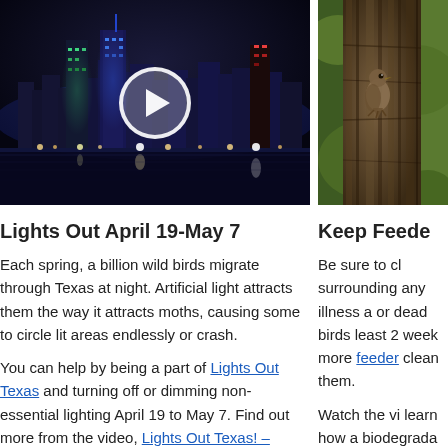[Figure (photo): Night cityscape of Dallas/Texas skyline with city lights reflected on water, with a white play button overlay indicating a video thumbnail]
Lights Out April 19-May 7
Each spring, a billion wild birds migrate through Texas at night. Artificial light attracts them the way it attracts moths, causing some to circle lit areas endlessly or crash.
You can help by being a part of Lights Out Texas and turning off or dimming non-essential lighting April 19 to May 7. Find out more from the video, Lights Out Texas! – Spring Migration 2020
[Figure (photo): Close-up photo of a bird on tree bark, partially cropped on the right side of the page]
Keep Feede
Be sure to cl surrounding any illness a or dead birds least 2 week more feeder clean them.
Watch the vi learn how a biodegrada